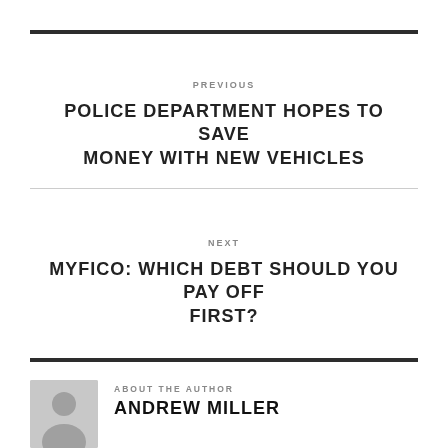PREVIOUS
POLICE DEPARTMENT HOPES TO SAVE MONEY WITH NEW VEHICLES
NEXT
MYFICO: WHICH DEBT SHOULD YOU PAY OFF FIRST?
ABOUT THE AUTHOR
ANDREW MILLER